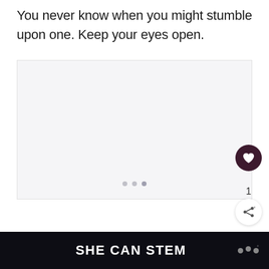You never know when you might stumble upon one. Keep your eyes open.
[Figure (other): Large blank/loading image area with three dots indicating a slideshow or loading state]
SHE CAN STEM